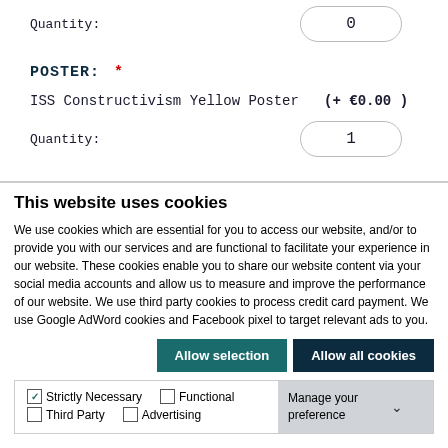Quantity: 0
POSTER: *
ISS Constructivism Yellow Poster (+ €0.00 )
Quantity: 1
This website uses cookies
We use cookies which are essential for you to access our website, and/or to provide you with our services and are functional to facilitate your experience in our website. These cookies enable you to share our website content via your social media accounts and allow us to measure and improve the performance of our website. We use third party cookies to process credit card payment. We use Google AdWord cookies and Facebook pixel to target relevant ads to you.
Allow selection | Allow all cookies
Strictly Necessary  Functional  Third Party  Advertising  Manage your preference